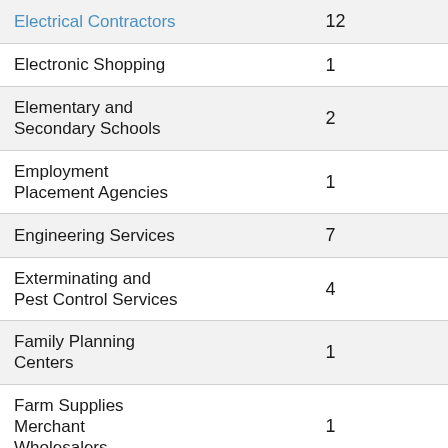| Category | Count |
| --- | --- |
| Electrical Contractors | 12 |
| Electronic Shopping | 1 |
| Elementary and Secondary Schools | 2 |
| Employment Placement Agencies | 1 |
| Engineering Services | 7 |
| Exterminating and Pest Control Services | 4 |
| Family Planning Centers | 1 |
| Farm Supplies Merchant Wholesalers | 1 |
| Fine Arts Schools | 5 |